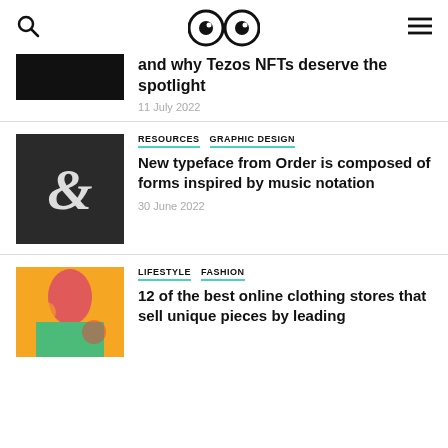Search | Logo | Menu
and why Tezos NFTs deserve the spotlight
11 July 2022
RESOURCES  GRAPHIC DESIGN
New typeface from Order is composed of forms inspired by music notation
30 June 2022
LIFESTYLE  FASHION
12 of the best online clothing stores that sell unique pieces by leading